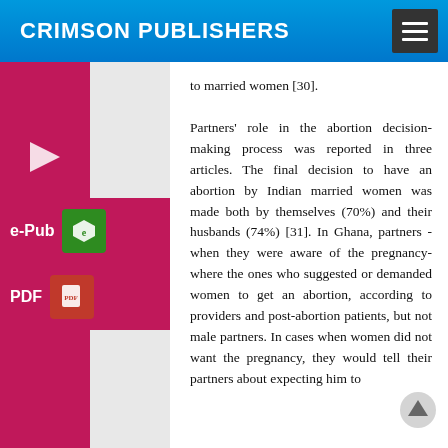CRIMSON PUBLISHERS
to married women [30].

Partners' role in the abortion decision-making process was reported in three articles. The final decision to have an abortion by Indian married women was made both by themselves (70%) and their husbands (74%) [31]. In Ghana, partners -when they were aware of the pregnancy- where the ones who suggested or demanded women to get an abortion, according to providers and post-abortion patients, but not male partners. In cases when women did not want the pregnancy, they would tell their partners about expecting him to